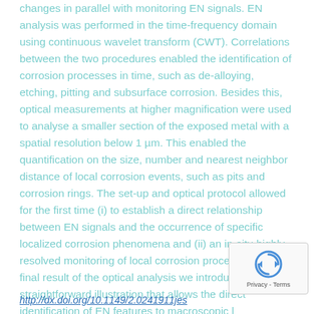changes in parallel with monitoring EN signals. EN analysis was performed in the time-frequency domain using continuous wavelet transform (CWT). Correlations between the two procedures enabled the identification of corrosion processes in time, such as de-alloying, etching, pitting and subsurface corrosion. Besides this, optical measurements at higher magnification were used to analyse a smaller section of the exposed metal with a spatial resolution below 1 µm. This enabled the quantification on the size, number and nearest neighbor distance of local corrosion events, such as pits and corrosion rings. The set-up and optical protocol allowed for the first time (i) to establish a direct relationship between EN signals and the occurrence of specific localized corrosion phenomena and (ii) an in-situ highly-resolved monitoring of local corrosion processes. As a final result of the optical analysis we introduce a straightforward illustration that allows the direct identification of EN features to macroscopic local corrosion phenomena.
http://dx.doi.org/10.1149/2.0241911jes